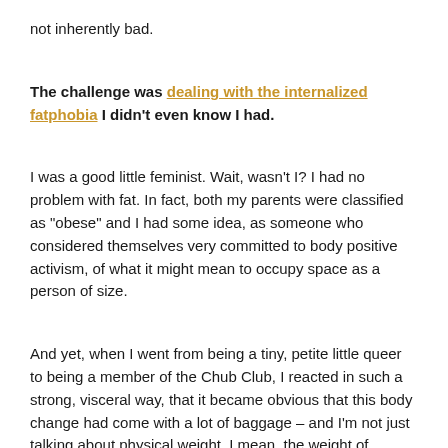not inherently bad.
The challenge was dealing with the internalized fatphobia I didn't even know I had.
I was a good little feminist. Wait, wasn't I? I had no problem with fat. In fact, both my parents were classified as "obese" and I had some idea, as someone who considered themselves very committed to body positive activism, of what it might mean to occupy space as a person of size.
And yet, when I went from being a tiny, petite little queer to being a member of the Chub Club, I reacted in such a strong, visceral way, that it became obvious that this body change had come with a lot of baggage – and I'm not just talking about physical weight, I mean, the weight of internalized oppression.